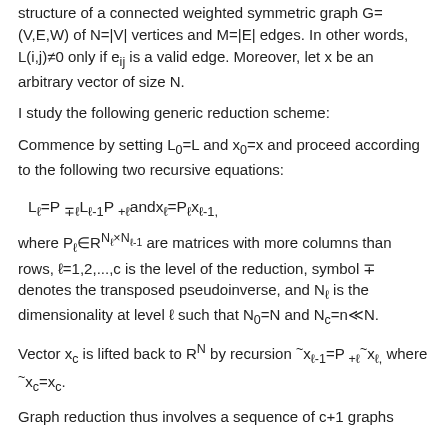structure of a connected weighted symmetric graph G=(V,E,W) of N=|V| vertices and M=|E| edges. In other words, L(i,j)≠0 only if e_ij is a valid edge. Moreover, let x be an arbitrary vector of size N.
I study the following generic reduction scheme:
Commence by setting L_0=L and x_0=x and proceed according to the following two recursive equations:
where P_ℓ∈R^{N_ℓ×N_{ℓ-1}} are matrices with more columns than rows, ℓ=1,2,...,c is the level of the reduction, symbol ∓ denotes the transposed pseudoinverse, and N_ℓ is the dimensionality at level ℓ such that N_0=N and N_c=n≪N.
Vector x_c is lifted back to R^N by recursion ~x_{ℓ-1}=P_{+ℓ}~x_ℓ, where ~x_c=x_c.
Graph reduction thus involves a sequence of c+1 graphs